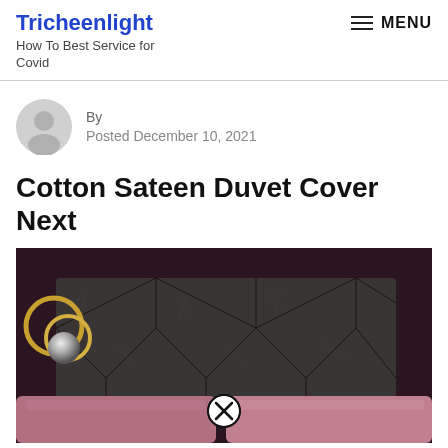Tricheenlight
How To Best Service for Covid
MENU
By
Posted December 10, 2021
Cotton Sateen Duvet Cover Next
[Figure (photo): Bedroom scene with dark tufted velvet headboard, pink/mauve pillows, gold ring wall decor with silver sphere, against dark purple wall. A close button (X in circle) overlay is visible.]